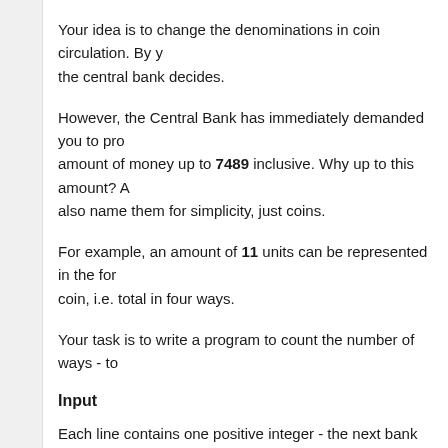Your idea is to change the denominations in coin circulation. By y... the central bank decides.
However, the Central Bank has immediately demanded you to pro... amount of money up to 7489 inclusive. Why up to this amount? A... also name them for simplicity, just coins.
For example, an amount of 11 units can be represented in the for... coin, i.e. total in four ways.
Your task is to write a program to count the number of ways - to ...
Input
Each line contains one positive integer - the next bank request.
Output
For each request print on a separate line the required number of w...